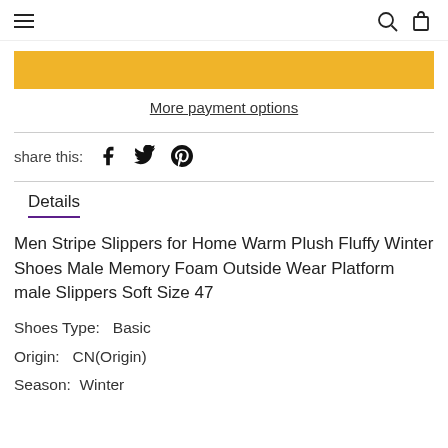Navigation header with hamburger menu, search icon, and cart icon
[Figure (other): Yellow/gold Buy Now button]
More payment options
share this: [Facebook] [Twitter] [Pinterest]
Details
Men Stripe Slippers for Home Warm Plush Fluffy Winter Shoes Male Memory Foam Outside Wear Platform male Slippers Soft Size 47
Shoes Type:   Basic
Origin:   CN(Origin)
Season:   Winter